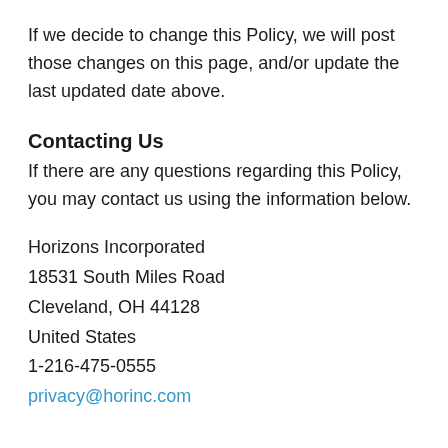If we decide to change this Policy, we will post those changes on this page, and/or update the last updated date above.
Contacting Us
If there are any questions regarding this Policy, you may contact us using the information below.
Horizons Incorporated
18531 South Miles Road
Cleveland, OH 44128
United States
1-216-475-0555
privacy@horinc.com